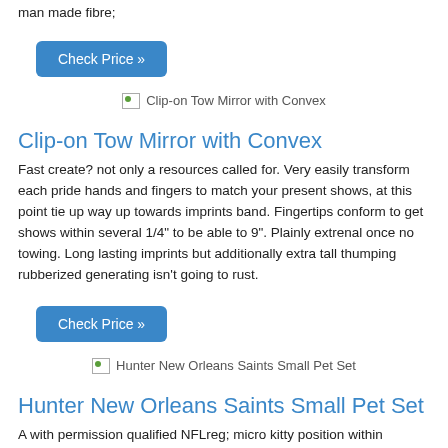man made fibre;
Check Price »
[Figure (other): Broken image placeholder labeled 'Clip-on Tow Mirror with Convex']
Clip-on Tow Mirror with Convex
Fast create? not only a resources called for. Very easily transform each pride hands and fingers to match your present shows, at this point tie up way up towards imprints band. Fingertips conform to get shows within several 1/4" to be able to 9". Plainly extrenal once no towing. Long lasting imprints but additionally extra tall thumping rubberized generating isn't going to rust.
Check Price »
[Figure (other): Broken image placeholder labeled 'Hunter New Orleans Saints Small Pet Set']
Hunter New Orleans Saints Small Pet Set
A with permission qualified NFLreg; micro kitty position within Huntereg; is known for a 4apos; x 58quot; leash